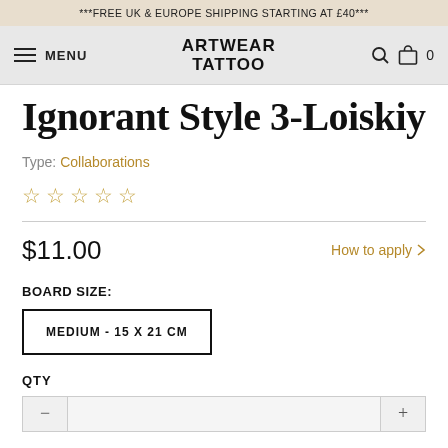***FREE UK & EUROPE SHIPPING STARTING AT £40***
MENU | ARTWEAR TATTOO | 🔍 🛍 0
Ignorant Style 3-Loiskiy
Type: Collaborations
☆☆☆☆☆
$11.00   How to apply >
BOARD SIZE:
MEDIUM - 15 X 21 CM
QTY